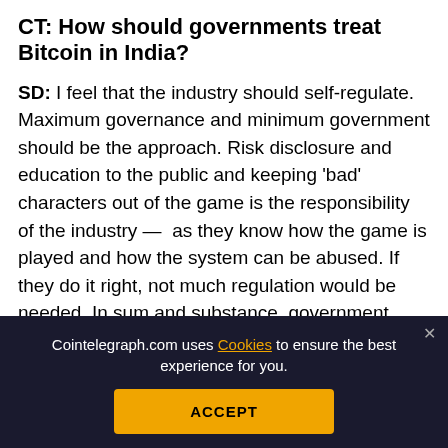CT: How should governments treat Bitcoin in India?
SD: I feel that the industry should self-regulate. Maximum governance and minimum government should be the approach. Risk disclosure and education to the public and keeping 'bad' characters out of the game is the responsibility of the industry — as they know how the game is played and how the system can be abused. If they do it right, not much regulation would be needed. In sum and substance, government should be watchful and indu
[Figure (screenshot): Social share bar with icons for Facebook, Twitter, Telegram, Reddit, LinkedIn, WhatsApp, Copy, and scroll-to-top]
[Figure (screenshot): Cookie consent banner: 'Cointelegraph.com uses Cookies to ensure the best experience for you.' with ACCEPT button]